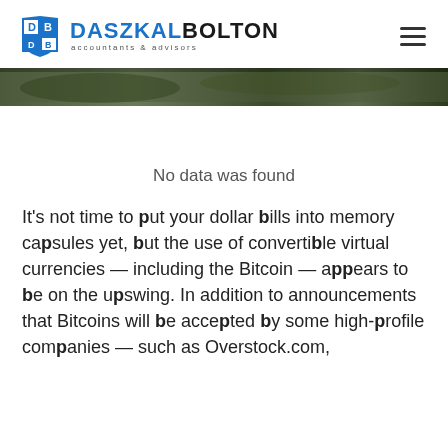DASZKAL BOLTON accountants & advisors
[Figure (photo): Dark blurred decorative header image strip]
No data was found
It's not time to put your dollar bills into memory capsules yet, but the use of convertible virtual currencies — including the Bitcoin — appears to be on the upswing. In addition to announcements that Bitcoins will be accepted by some high-profile companies — such as Overstock.com,